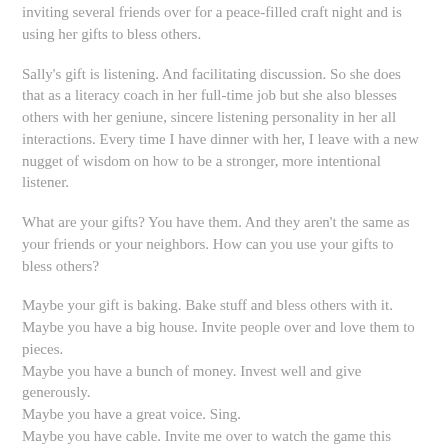inviting several friends over for a peace-filled craft night and is using her gifts to bless others.
Sally's gift is listening. And facilitating discussion. So she does that as a literacy coach in her full-time job but she also blesses others with her geniune, sincere listening personality in her all interactions. Every time I have dinner with her, I leave with a new nugget of wisdom on how to be a stronger, more intentional listener.
What are your gifts? You have them. And they aren't the same as your friends or your neighbors. How can you use your gifts to bless others?
Maybe your gift is baking. Bake stuff and bless others with it. Maybe you have a big house. Invite people over and love them to pieces.
Maybe you have a bunch of money. Invest well and give generously.
Maybe you have a great voice. Sing.
Maybe you have cable. Invite me over to watch the game this weekend.